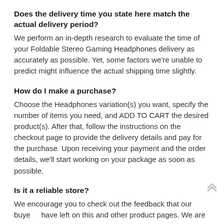Does the delivery time you state here match the actual delivery period?
We perform an in-depth research to evaluate the time of your Foldable Stereo Gaming Headphones delivery as accurately as possible. Yet, some factors we're unable to predict might influence the actual shipping time slightly.
How do I make a purchase?
Choose the Headphones variation(s) you want, specify the number of items you need, and ADD TO CART the desired product(s). After that, follow the instructions on the checkout page to provide the delivery details and pay for the purchase. Upon receiving your payment and the order details, we'll start working on your package as soon as possible.
Is it a reliable store?
We encourage you to check out the feedback that our buyers have left on this and other product pages. We are very open...